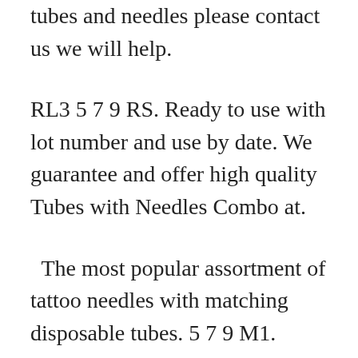tubes and needles please contact us we will help.
RL3 5 7 9 RS. Ready to use with lot number and use by date. We guarantee and offer high quality Tubes with Needles Combo at.
The most popular assortment of tattoo needles with matching disposable tubes. 5 7 9 M1. PACKAGE INCLUDE – Tattoo Tube with Tattoo NeedlesPack of 40 x assorted size tattoo needles and tubes comboRL3 5 7 9 RS.
PACKAGE INCLUDE – Tattoo Tube with Assorted Tattoo NeedlesPack of 40 x tattoo